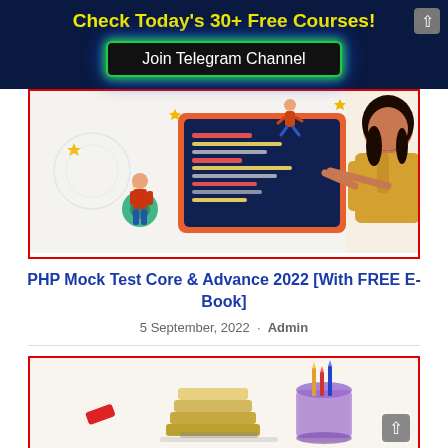Check Today's 30+ Free Courses!
Join Telegram Channel
[Figure (illustration): Illustration showing a laptop with code lines on screen, a person with a gear, a running figure, and a smiling woman in yellow sweater pointing at the screen]
PHP Mock Test Core & Advance 2022 [With FREE E-Book]
5 September, 2022 · Admin
[Figure (illustration): Partially visible illustration showing study materials including books and a container on a light background]